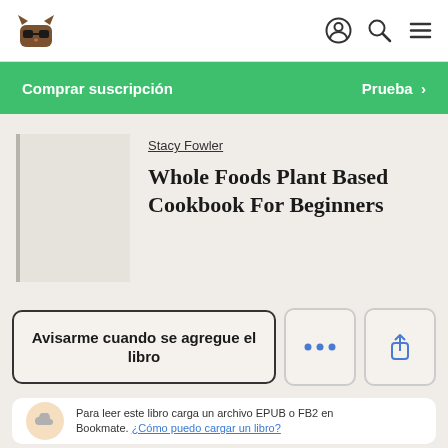Bookmate navigation bar with logo, user icon, search icon, menu icon
Comprar suscripción    Prueba >
Stacy Fowler
Whole Foods Plant Based Cookbook For Beginners
Avisarme cuando se agregue el libro
Para leer este libro carga un archivo EPUB o FB2 en Bookmate. ¿Cómo puedo cargar un libro?